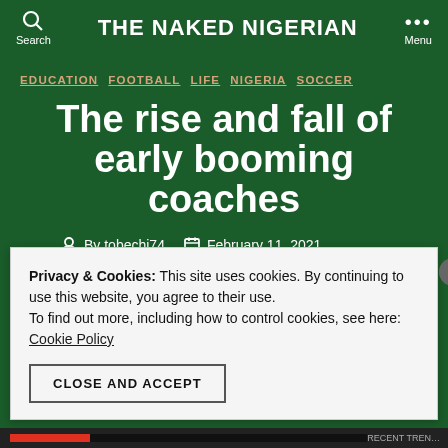THE NAKED NIGERIAN
EDUCATION  FOOTBALL  LIFE  NIGERIA  SOCCER
The rise and fall of early booming coaches
By tobechi74   February 11, 2021
Privacy & Cookies: This site uses cookies. By continuing to use this website, you agree to their use.
To find out more, including how to control cookies, see here: Cookie Policy
CLOSE AND ACCEPT